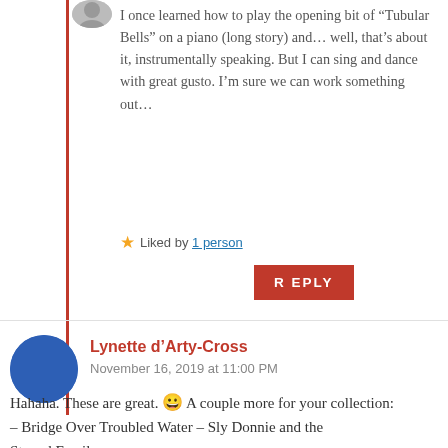I once learned how to play the opening bit of “Tubular Bells” on a piano (long story) and… well, that’s about it, instrumentally speaking. But I can sing and dance with great gusto. I’m sure we can work something out…
★ Liked by 1 person
REPLY
Lynette d’Arty-Cross
November 16, 2019 at 11:00 PM
Hahaha. These are great. 😀 A couple more for your collection:
– Bridge Over Troubled Water – Sly Donnie and the Stoned Family
– Born to Run – Rudy and the Fall Guys